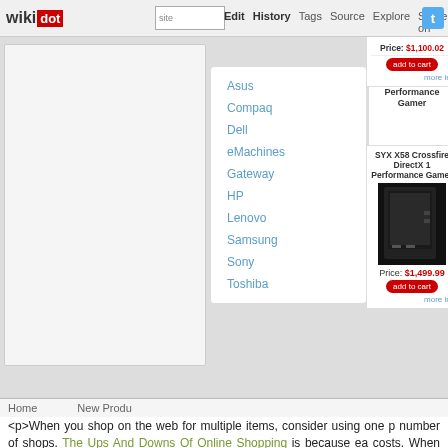wikidot | site | Edit | History | Tags | Source | Explore | Share on Twitter
Asus
Compaq
Dell
eMachines
Gateway
HP
Lenovo
Samsung
Sony
Toshiba
[Figure (photo): SYX X58 Crossfire DirectX 1 Performance Gamer desktop computer tower, black]
SYX X58 Crossfire DirectX 1 Performance Gamer
Price: $1,499.99
Home   New Produ
<p>When you shop on the web for multiple items, consider using one p number of shops. The Ups And Downs Of Online Shopping is because ea costs. When you order from two independent shops, you will be doubly alternative, buy from a single store even if your costs are a bit higher.</p>
<p>When you strategy to make a buy, take a look at testimonials initial. from doesn't provide reviews, check out an internet site like Amazon declaring. If The Very Best Shopping Online Advice You Can Expect T which was reviewed poorly, you likely will have the identical effects </p>